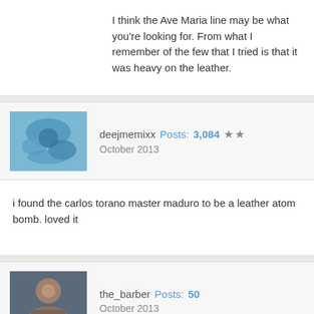I think the Ave Maria line may be what you're looking for. From what I remember of the few that I tried is that it was heavy on the leather.
deejmemixx Posts: 3,084 ★★ October 2013
i found the carlos torano master maduro to be a leather atom bomb. loved it
the_barber Posts: 50 October 2013
I've added all three to my ever growing list. I will start looking for them at the local shops, thanks a ton guys